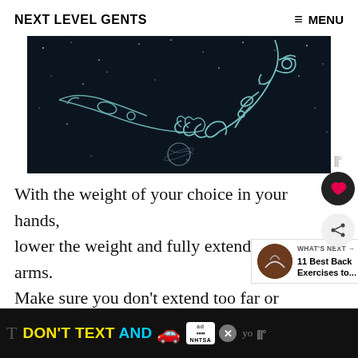NEXT LEVEL GENTS   ≡ MENU
[Figure (illustration): Dark space illustration showing an astronaut's hands reaching outward with a small planet/moon below, on a starry black background]
With the weight of your choice in your hands, lower the weight and fully extend your arms. Make sure you don't extend too far or f... can hurt your elbow.
[Figure (infographic): WHAT'S NEXT → 11 Best Back Exercises to... overlay card with thumbnail]
[Figure (screenshot): Advertisement banner: DON'T TEXT AND [car emoji] ad logo NHTSA with close button]